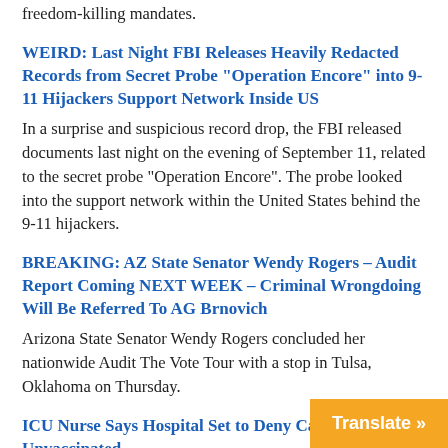freedom-killing mandates.
WEIRD: Last Night FBI Releases Heavily Redacted Records from Secret Probe “Operation Encore” into 9-11 Hijackers Support Network Inside US
In a surprise and suspicious record drop, the FBI released documents last night on the evening of September 11, related to the secret probe “Operation Encore”.  The probe looked into the support network within the United States behind the 9-11 hijackers.
BREAKING: AZ State Senator Wendy Rogers – Audit Report Coming NEXT WEEK – Criminal Wrongdoing Will Be Referred To AG Brnovich
Arizona State Senator Wendy Rogers concluded her nationwide Audit The Vote Tour with a stop in Tulsa, Oklahoma on Thursday.
ICU Nurse Says Hospital Set to Deny Care to Unvaccinated
Biden’s declaration of war on America, the fear-driven by the lying and criminally complicit, corrupt, bou…